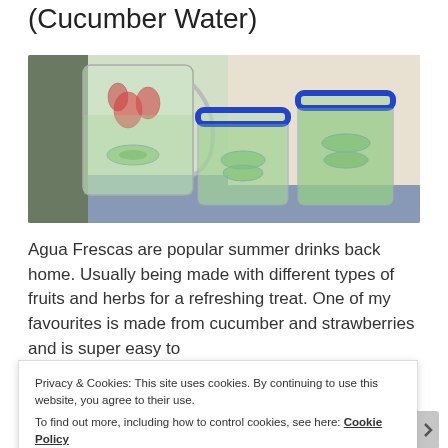(Cucumber Water)
[Figure (photo): A glass pitcher and two blue-rimmed glasses filled with cucumber and strawberry agua fresca / cucumber water, sitting on a blue cloth surface]
Agua Frescas are popular summer drinks back home. Usually being made with different types of fruits and herbs for a refreshing treat. One of my favourites is made from cucumber and strawberries and is super easy to
Privacy & Cookies: This site uses cookies. By continuing to use this website, you agree to their use.
To find out more, including how to control cookies, see here: Cookie Policy
Close and accept